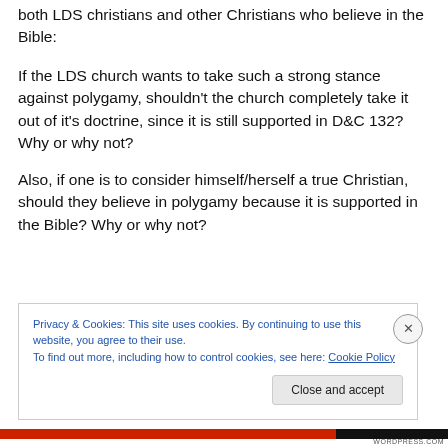both LDS christians and other Christians who believe in the Bible:
If the LDS church wants to take such a strong stance against polygamy, shouldn't the church completely take it out of it's doctrine, since it is still supported in D&C 132?  Why or why not?
Also, if one is to consider himself/herself a true Christian, should they believe in polygamy because it is supported in the Bible?  Why or why not?
Privacy & Cookies: This site uses cookies. By continuing to use this website, you agree to their use.
To find out more, including how to control cookies, see here: Cookie Policy